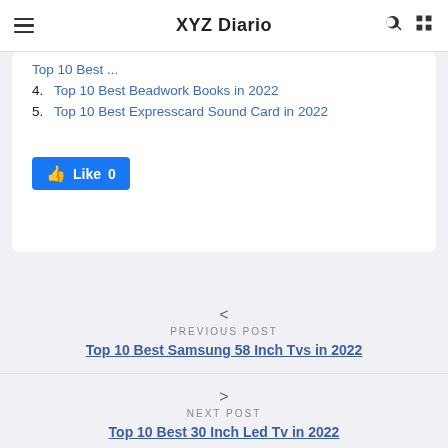XYZ Diario
4. Top 10 Best Beadwork Books in 2022
5. Top 10 Best Expresscard Sound Card in 2022
[Figure (other): Facebook Like button showing thumbs up icon and count 0]
< PREVIOUS POST
Top 10 Best Samsung 58 Inch Tvs in 2022
> NEXT POST
Top 10 Best 30 Inch Led Tv in 2022